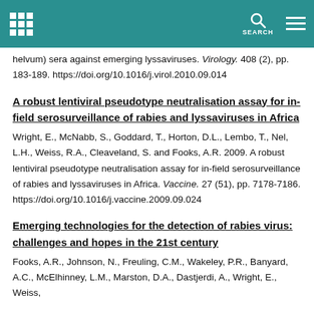SEARCH [navigation header with grid icon and menu icon]
helvum) sera against emerging lyssaviruses. Virology. 408 (2), pp. 183-189. https://doi.org/10.1016/j.virol.2010.09.014
A robust lentiviral pseudotype neutralisation assay for in-field serosurveillance of rabies and lyssaviruses in Africa
Wright, E., McNabb, S., Goddard, T., Horton, D.L., Lembo, T., Nel, L.H., Weiss, R.A., Cleaveland, S. and Fooks, A.R. 2009. A robust lentiviral pseudotype neutralisation assay for in-field serosurveillance of rabies and lyssaviruses in Africa. Vaccine. 27 (51), pp. 7178-7186. https://doi.org/10.1016/j.vaccine.2009.09.024
Emerging technologies for the detection of rabies virus: challenges and hopes in the 21st century
Fooks, A.R., Johnson, N., Freuling, C.M., Wakeley, P.R., Banyard, A.C., McElhinney, L.M., Marston, D.A., Dastjerdi, A., Wright, E., Weiss, R. and Müller, T. 2009. Emerging technologies for the detection of...